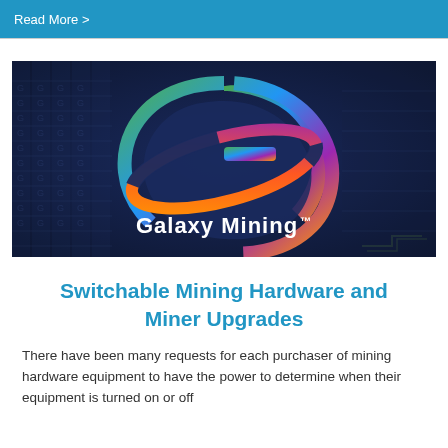Read More >
[Figure (logo): Galaxy Mining branded banner image with a colorful stylized G logo (gradient from green to blue to purple to orange) over a dark blue server/mining hardware background, with 'Galaxy Mining™' text in white below the logo]
Switchable Mining Hardware and Miner Upgrades
There have been many requests for each purchaser of mining hardware equipment to have the power to determine when their equipment is turned on or off